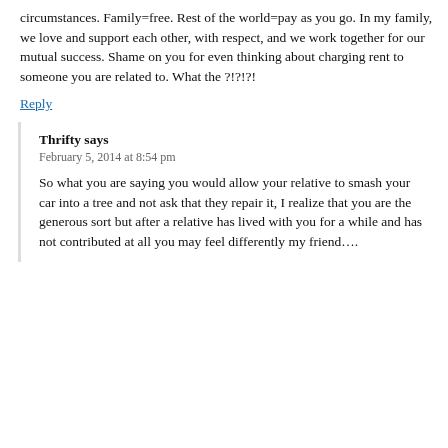circumstances. Family=free. Rest of the world=pay as you go. In my family, we love and support each other, with respect, and we work together for our mutual success. Shame on you for even thinking about charging rent to someone you are related to. What the ?!?!?!
Reply
Thrifty says
February 5, 2014 at 8:54 pm
So what you are saying you would allow your relative to smash your car into a tree and not ask that they repair it, I realize that you are the generous sort but after a relative has lived with you for a while and has not contributed at all you may feel differently my friend….